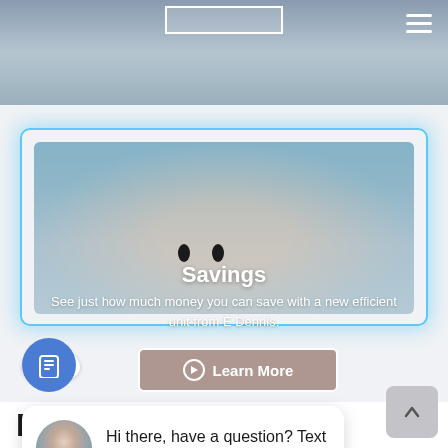[Figure (screenshot): Top portion of a website showing a photo/hero image with hamburger menu icon and a white rectangular element overlay]
Savings
See just how much money you can save with a new efficient unit from E Dennis.
[Figure (screenshot): Learn More button with right-arrow circle icon, on a brownish semi-transparent background with white border]
close
Hi there, have a question? Text us here.
[Figure (screenshot): Blue circular button with phone/text message icon]
[Figure (screenshot): Gray scroll-to-top button with upward arrow]
Ready to see the E